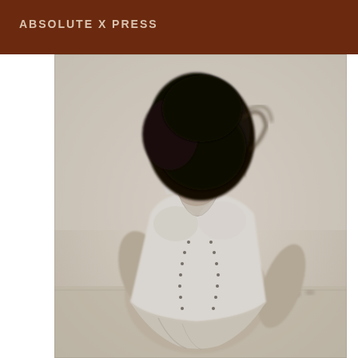ABSOLUTE X PRESS
[Figure (photo): Black and white photograph of a woman seated, head bowed so her face is obscured by dark hair, wearing a white sleeveless top with decorative dotted seam detail and light shorts, photographed outdoors at a beach setting.]